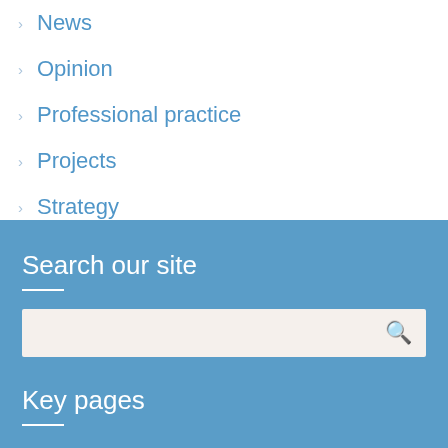News
Opinion
Professional practice
Projects
Strategy
Search our site
Key pages